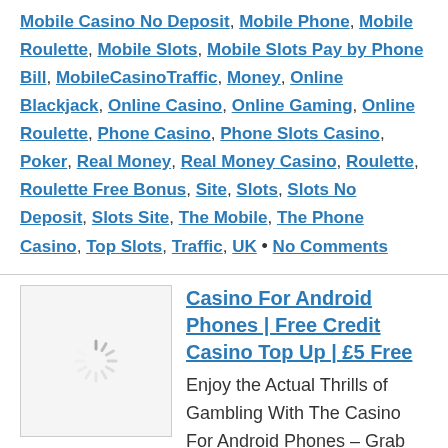Mobile Casino No Deposit, Mobile Phone, Mobile Roulette, Mobile Slots, Mobile Slots Pay by Phone Bill, MobileCasinoTraffic, Money, Online Blackjack, Online Casino, Online Gaming, Online Roulette, Phone Casino, Phone Slots Casino, Poker, Real Money, Real Money Casino, Roulette, Roulette Free Bonus, Site, Slots, Slots No Deposit, Slots Site, The Mobile, The Phone Casino, Top Slots, Traffic, UK • No Comments
Casino For Android Phones | Free Credit Casino Top Up | £5 Free
[Figure (other): Loading spinner / placeholder thumbnail image]
Enjoy the Actual Thrills of Gambling With The Casino For Android Phones – Grab 10% Cash Back Offer ! Casino For Android Phones and Win Bonanza at CasinoPhoneBill You can… more
July 1, 2015 Randy Hall: Posted in Android, Best Casino, Best Phone Slots, Best Roulette, Best Slots Online, Blackjack, Cash, Casino, Deposit, Deposit by Phone Bill, Free Blackjack, Free